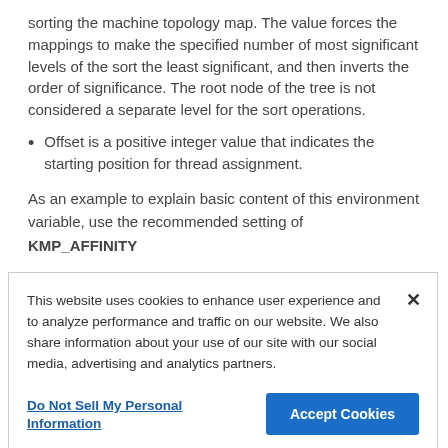sorting the machine topology map. The value forces the mappings to make the specified number of most significant levels of the sort the least significant, and then inverts the order of significance. The root node of the tree is not considered a separate level for the sort operations.
Offset is a positive integer value that indicates the starting position for thread assignment.
As an example to explain basic content of this environment variable, use the recommended setting of KMP_AFFINITY
This website uses cookies to enhance user experience and to analyze performance and traffic on our website. We also share information about your use of our site with our social media, advertising and analytics partners.
Do Not Sell My Personal Information
Accept Cookies